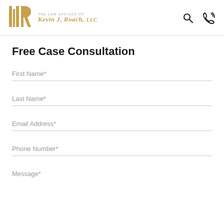The Law Offices of Kevin J. Roach, LLC
Free Case Consultation
First Name*
Last Name*
Email Address*
Phone Number*
Message*